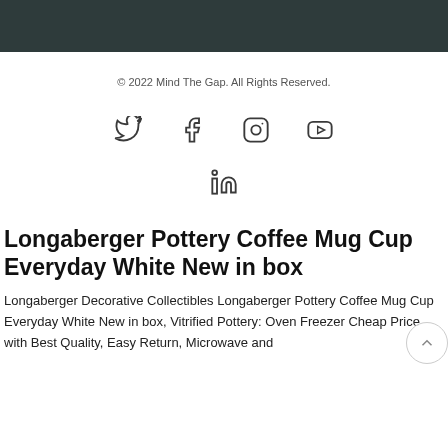© 2022 Mind The Gap. All Rights Reserved.
[Figure (illustration): Social media icons: Twitter, Facebook, Instagram, YouTube, LinkedIn]
Longaberger Pottery Coffee Mug Cup Everyday White New in box
Longaberger Decorative Collectibles Longaberger Pottery Coffee Mug Cup Everyday White New in box, Vitrified Pottery: Oven Freezer Cheap Price with Best Quality, Easy Return, Microwave and